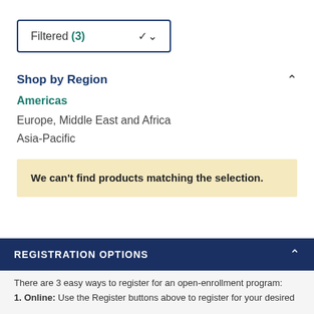Filtered (3)
Shop by Region
Americas
Europe, Middle East and Africa
Asia-Pacific
We can't find products matching the selection.
REGISTRATION OPTIONS
There are 3 easy ways to register for an open-enrollment program:
1. Online: Use the Register buttons above to register for your desired